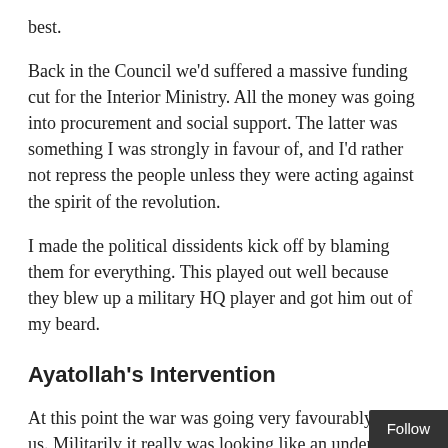best.
Back in the Council we'd suffered a massive funding cut for the Interior Ministry. All the money was going into procurement and social support. The latter was something I was strongly in favour of, and I'd rather not repress the people unless they were acting against the spirit of the revolution.
I made the political dissidents kick off by blaming them for everything. This played out well because they blew up a military HQ player and got him out of my beard.
Ayatollah's Intervention
At this point the war was going very favourably for us. Militarily it really was looking like an undeniable victory. However the Ayatollah intervened because he didn't think we were playing nicely enough with each other. He was assuredly correct. Some subtle agreement and positive suggestio